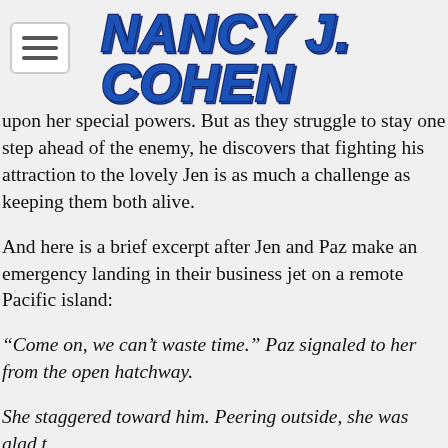[Figure (logo): Nancy J. Cohen logo in bold blue serif text with dark outline/drop shadow effect]
upon her special powers. But as they struggle to stay one step ahead of the enemy, he discovers that fighting his attraction to the lovely Jen is as much a challenge as keeping them both alive.
And here is a brief excerpt after Jen and Paz make an emergency landing in their business jet on a remote Pacific island:
“Come on, we can’t waste time.” Paz signaled to her from the open hatchway.
She staggered toward him. Peering outside, she was glad t